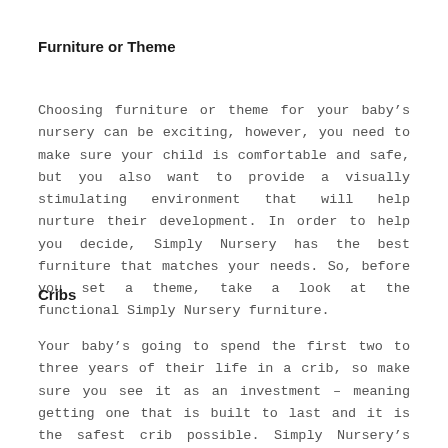Furniture or Theme
Choosing furniture or theme for your baby's nursery can be exciting, however, you need to make sure your child is comfortable and safe, but you also want to provide a visually stimulating environment that will help nurture their development. In order to help you decide, Simply Nursery has the best furniture that matches your needs. So, before you set a theme, take a look at the functional Simply Nursery furniture.
Cribs
Your baby's going to spend the first two to three years of their life in a crib, so make sure you see it as an investment – meaning getting one that is built to last and it is the safest crib possible. Simply Nursery's crib